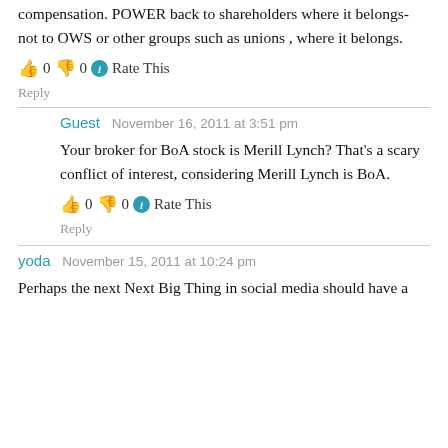compensation. POWER back to shareholders where it belongs- not to OWS or other groups such as unions , where it belongs.
👍 0 👎 0 ℹ Rate This
Reply
Guest  November 16, 2011 at 3:51 pm
Your broker for BoA stock is Merill Lynch? That's a scary conflict of interest, considering Merill Lynch is BoA.
👍 0 👎 0 ℹ Rate This
Reply
yoda  November 15, 2011 at 10:24 pm
Perhaps the next Next Big Thing in social media should have a